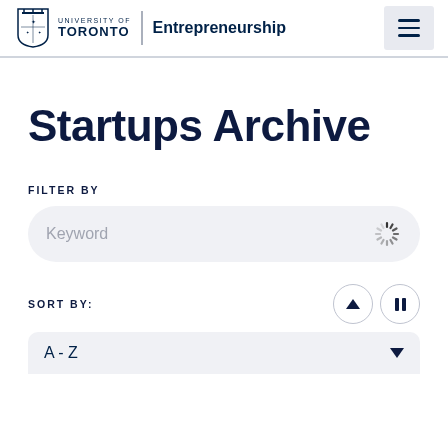UNIVERSITY OF TORONTO | Entrepreneurship
Startups Archive
FILTER BY
Keyword
SORT BY:
A - Z